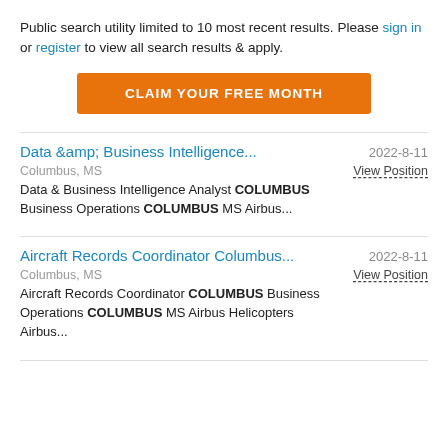Public search utility limited to 10 most recent results. Please sign in or register to view all search results & apply.
CLAIM YOUR FREE MONTH
Data &amp; Business Intelligence...	2022-8-11
Columbus, MS
View Position
Data & Business Intelligence Analyst COLUMBUS Business Operations COLUMBUS MS Airbus...
Aircraft Records Coordinator Columbus...	2022-8-11
Columbus, MS
View Position
Aircraft Records Coordinator COLUMBUS Business Operations COLUMBUS MS Airbus Helicopters Airbus...
Partial listing 2022-...